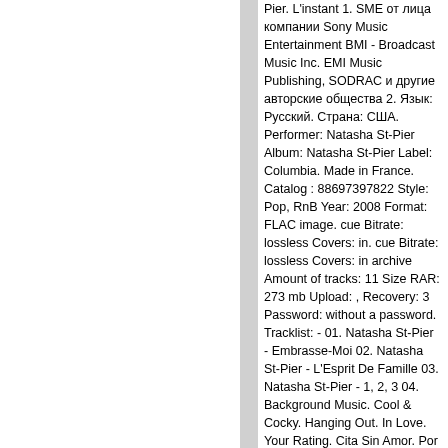Pier. L'instant 1. SME от лица компании Sony Music Entertainment BMI - Broadcast Music Inc. EMI Music Publishing, SODRAC и другие авторские общества 2. Язык: Русский. Страна: США. Performer: Natasha St-Pier Album: Natasha St-Pier Label: Columbia. Made in France. Catalog : 88697397822 Style: Pop, RnB Year: 2008 Format: FLAC image. cue Bitrate: lossless Covers: in. cue Bitrate: lossless Covers: in archive Amount of tracks: 11 Size RAR: 273 mb Upload: , Recovery: 3 Password: without a password. Tracklist: - 01. Natasha St-Pier - Embrasse-Moi 02. Natasha St-Pier - L'Esprit De Famille 03. Natasha St-Pier - 1, 2, 3 04. Background Music. Cool & Cocky. Hanging Out. In Love. Your Rating. Cita Sin Amor. Por Probarlo Todo, No Se Pierde Nada. 195 Tracks. Stream Tracks and Playlists from Natasha St-Pier on your desktop or mobile device. Let your audience know what to hear first. Pascal Obispo. Originals 1. Releases 1. Natasha St-Pier - Pascal Obispo. November 3, 2003. Performances appear on. Release date. Music licensing. Get involved.